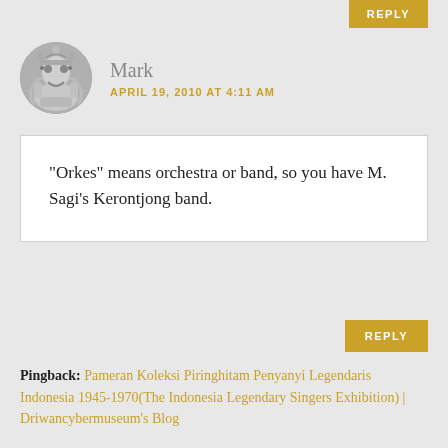REPLY
Mark
APRIL 19, 2010 AT 4:11 AM
“Orkes” means orchestra or band, so you have M. Sagi’s Kerontjong band.
REPLY
Pingback: Pameran Koleksi Piringhitam Penyanyi Legendaris Indonesia 1945-1970(The Indonesia Legendary Singers Exhibition) | Driwancybermuseum's Blog
Pingback: The Historical Betawi Music Record Development Book One 1900-1950(Sejarah Perkembangan Rekaman Musik Betawi Awal abad Ke-20) |